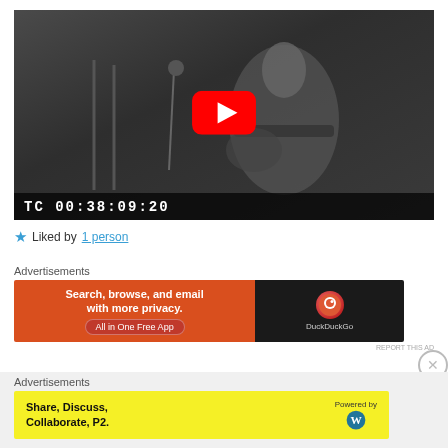[Figure (screenshot): YouTube video embed showing 'Royal Guardsmen - Snoopy...' with a play button, guitarist in background, and timecode TC 00:38:09:20]
Liked by 1 person
Advertisements
[Figure (other): DuckDuckGo advertisement banner: 'Search, browse, and email with more privacy. All in One Free App' with DuckDuckGo logo on dark background]
REPORT THIS AD
Advertisements
[Figure (other): Yellow advertisement banner: 'Share, Discuss, Collaborate, P2.' Powered by WordPress logo]